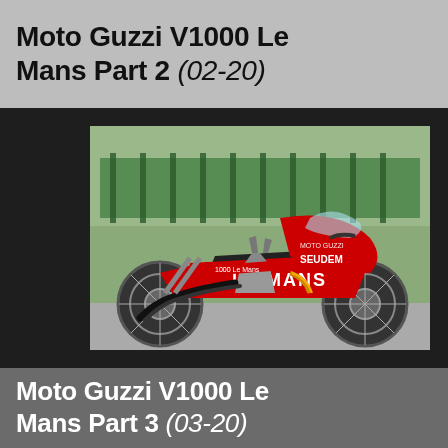Moto Guzzi V1000 Le Mans Part 2 (02-20)
[Figure (photo): Red Moto Guzzi V1000 Le Mans motorcycle parked outdoors. The fairing reads 'LE MANS' in white letters and 'SEUDEM' on the side. The bike is shown from the left side profile.]
Moto Guzzi V1000 Le Mans Part 3 (03-20)